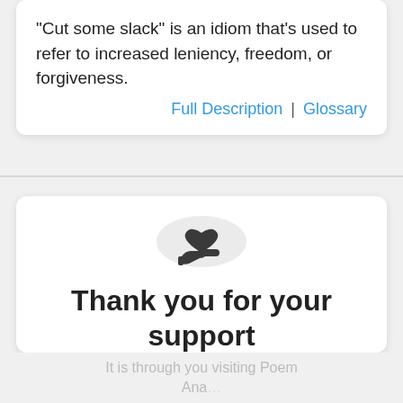“Cut some slack” is an idiom that’s used to refer to increased leniency, freedom, or forgiveness.
Full Description | Glossary
[Figure (illustration): A circular icon on a light gray background showing a heart above an open hand, representing charitable giving or support.]
Thank you for your support
It is through you visiting Poem Ana...